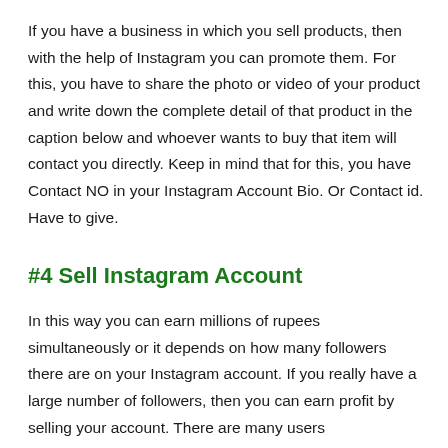If you have a business in which you sell products, then with the help of Instagram you can promote them. For this, you have to share the photo or video of your product and write down the complete detail of that product in the caption below and whoever wants to buy that item will contact you directly. Keep in mind that for this, you have Contact NO in your Instagram Account Bio. Or Contact id. Have to give.
#4 Sell Instagram Account
In this way you can earn millions of rupees simultaneously or it depends on how many followers there are on your Instagram account. If you really have a large number of followers, then you can earn profit by selling your account. There are many users